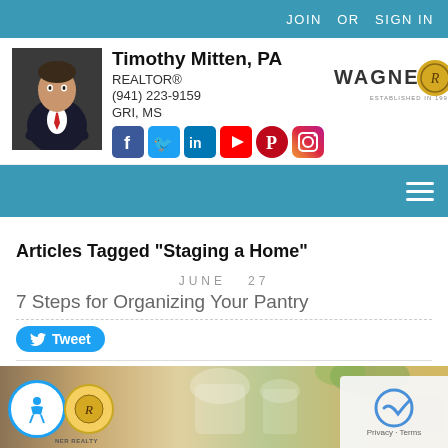JOIN  OR  SIGN IN
[Figure (photo): Headshot photo of Timothy Mitten in a dark suit]
Timothy Mitten, PA
REALTOR®
(941) 223-9159
GRI, MS
[Figure (logo): Wagner Realty logo with golden emblem]
[Figure (infographic): Social media icons: Facebook, Twitter, LinkedIn, YouTube, Pinterest, Instagram]
Articles Tagged "Staging a Home"
JUNE  27
7 Steps for Organizing Your Pantry
Tweet
[Figure (photo): Photo of pantry organization items — glass jars with grains and breads with green plants in background; accessibility badge, Wagner Realty badge, and reCAPTCHA widget overlaid]